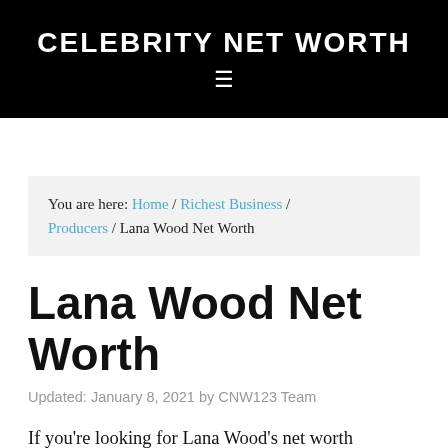CELEBRITY NET WORTH
You are here: Home / Richest Business / Producers / Lana Wood Net Worth
Lana Wood Net Worth
Updated: January 8, 2021 by CNW123 Team
If you're looking for Lana Wood's net worth